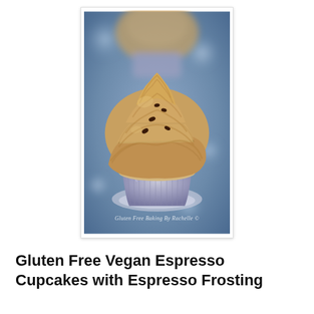[Figure (photo): A close-up photo of a gluten free vegan espresso cupcake with swirled espresso frosting in a silver foil cupcake liner, topped with chocolate sprinkles, with another cupcake blurred in the background. A watermark reads 'Gluten Free Baking By Rachelle ©'.]
Gluten Free Vegan Espresso Cupcakes with Espresso Frosting